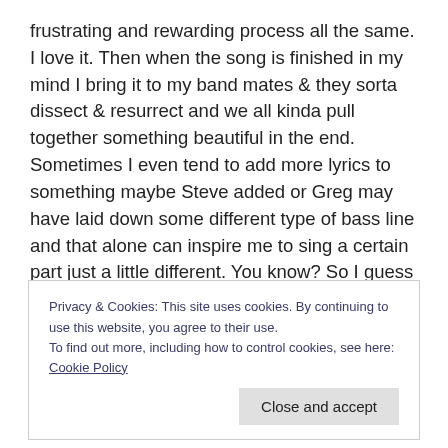frustrating and rewarding process all the same. I love it. Then when the song is finished in my mind I bring it to my band mates & they sorta dissect & resurrect and we all kinda pull together something beautiful in the end. Sometimes I even tend to add more lyrics to something maybe Steve added or Greg may have laid down some different type of bass line and that alone can inspire me to sing a certain part just a little different. You know? So I guess if everything was written the same way every time… we would have some pretty boring material.
Privacy & Cookies: This site uses cookies. By continuing to use this website, you agree to their use.
To find out more, including how to control cookies, see here: Cookie Policy
Close and accept